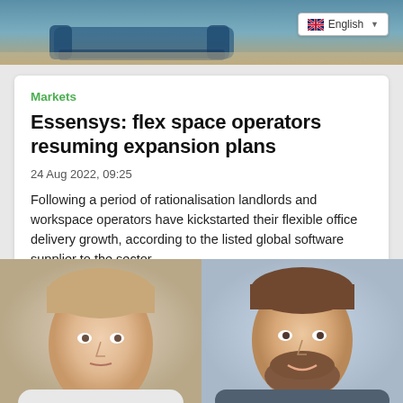[Figure (photo): Top banner photo showing a blue sofa/couch in an office setting]
English
Markets
Essensys: flex space operators resuming expansion plans
24 Aug 2022, 09:25
Following a period of rationalisation landlords and workspace operators have kickstarted their flexible office delivery growth, according to the listed global software supplier to the sector.
[Figure (photo): Two professional headshots side by side: left person is a young man with short hair, right person is a man with a beard smiling]